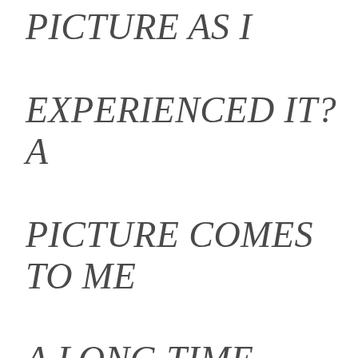PICTURE AS I EXPERIENCED IT? A PICTURE COMES TO ME A LONG TIME BEFOREHAND; WHO KNOWS HOW LONG A TIME BEFOREHAND, I SENSED, SAW AND...